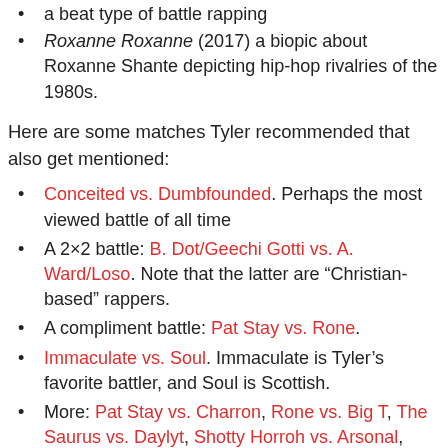a beat type of battle rapping
Roxanne Roxanne (2017) a biopic about Roxanne Shante depicting hip-hop rivalries of the 1980s.
Here are some matches Tyler recommended that also get mentioned:
Conceited vs. Dumbfounded. Perhaps the most viewed battle of all time
A 2×2 battle: B. Dot/Geechi Gotti vs. A. Ward/Loso. Note that the latter are “Christian-based” rappers.
A compliment battle: Pat Stay vs. Rone.
Immaculate vs. Soul. Immaculate is Tyler’s favorite battler, and Soul is Scottish.
More: Pat Stay vs. Charron, Rone vs. Big T, The Saurus vs. Daylyt, Shotty Horroh vs. Arsonal, Calicoe vs. Bigg K, Shotty Horroh vs. Tony D